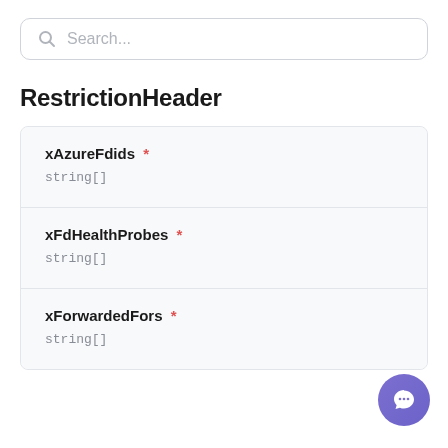RestrictionHeader
xAzureFdids *
string[]
xFdHealthProbes *
string[]
xForwardedFors *
string[]